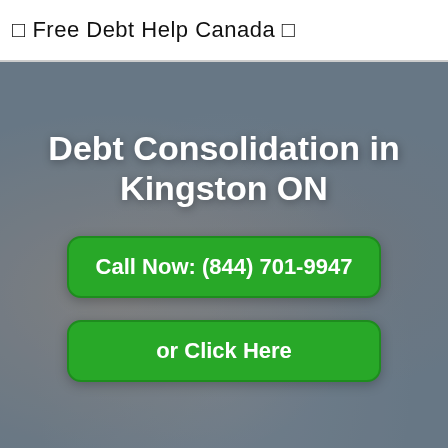⬜ Free Debt Help Canada ⬜
[Figure (photo): Background photo of smiling customer service representative wearing a headset/microphone, with another person blurred in the background. Image has a blue-grey tint overlay.]
Debt Consolidation in Kingston ON
Call Now: (844) 701-9947
or Click Here